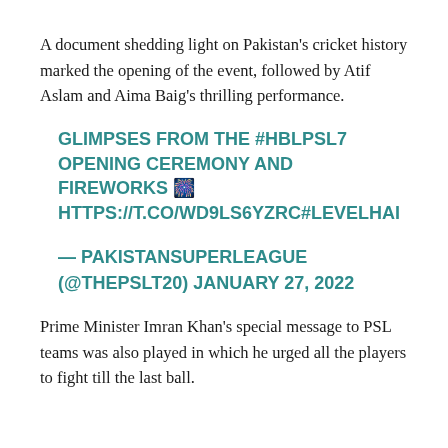A document shedding light on Pakistan's cricket history marked the opening of the event, followed by Atif Aslam and Aima Baig's thrilling performance.
GLIMPSES FROM THE #HBLPSL7 OPENING CEREMONY AND FIREWORKS 🎆 HTTPS://T.CO/WD9LS6YZRC#LEVELHAI
— PAKISTANSUPERLEAGUE (@THEPSLT20) JANUARY 27, 2022
Prime Minister Imran Khan's special message to PSL teams was also played in which he urged all the players to fight till the last ball.